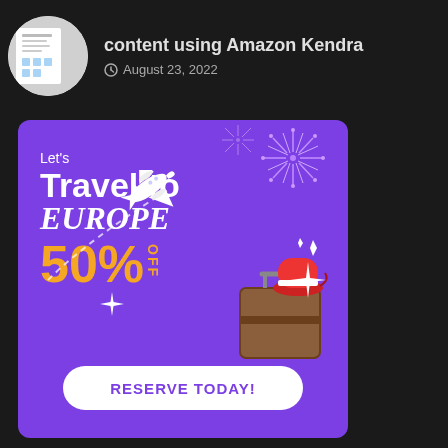content using Amazon Kendra
August 23, 2022
[Figure (illustration): Travel to Europe promotional banner ad with purple background. Shows 'Let's Travel to EUROPE 50% OFF' text with fireworks, airplane, luggage, and a red hat illustration. Has a white 'RESERVE TODAY!' button at bottom.]